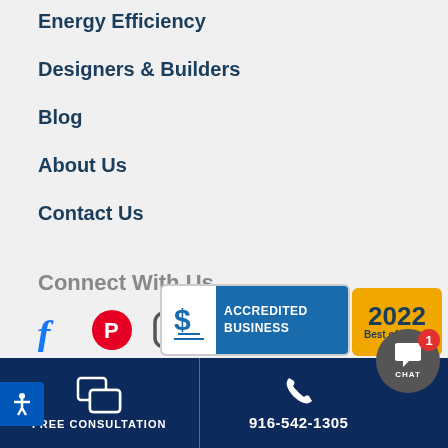Energy Efficiency
Designers & Builders
Blog
About Us
Contact Us
Connect With Us
[Figure (infographic): Social media icons: Facebook, Pinterest, Instagram, Houzz]
Privac
[Figure (screenshot): Chat popup bubble: Have a question? We are here to help!]
[Figure (logo): BBB Accredited Business badge]
[Figure (logo): 2022 Best of Houzz badge]
FREE CONSULTATION | 916-542-1305 | CHAT